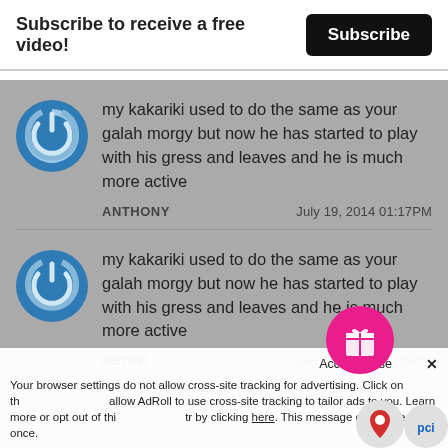Subscribe to receive a free video! Subscribe
my kakariki used to do the same as your galah morgy but now he has started to play with his gress and leaves and he is much more active
ANTHONY                      July 19, 2014 01:17PM
my kakariki used to do the same as your galah morgy but now he has started to play with his gress and leaves and he is much more active
PETER                       July 19, 2014 01:15PM
Your browser settings do not allow cross-site tracking for advertising. Click on the arrow to allow AdRoll to use cross-site tracking to tailor ads to you. Learn more or opt out of this by clicking here. This message only appears once.